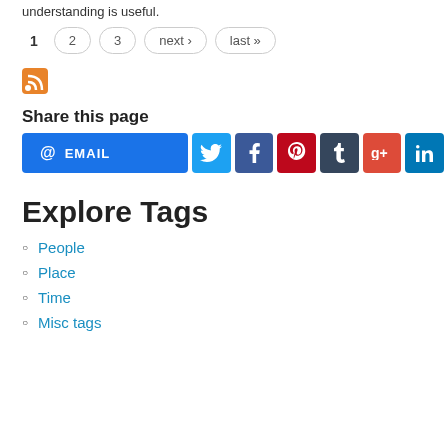understanding is useful.
1  2  3  next ›  last »
[Figure (other): RSS feed icon (orange square with white radio waves)]
Share this page
[Figure (infographic): Share buttons row: EMAIL, Twitter, Facebook, Pinterest, Tumblr, Google+, LinkedIn]
Explore Tags
People
Place
Time
Misc tags